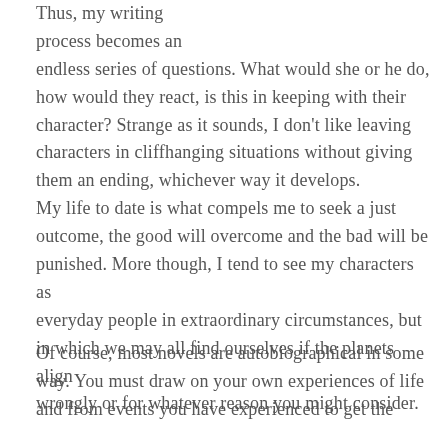Thus, my writing process becomes an endless series of questions. What would she or he do, how would they react, is this in keeping with their character? Strange as it sounds, I don't like leaving characters in cliffhanging situations without giving them an ending, whichever way it develops. My life to date is what compels me to seek a just outcome, the good will overcome and the bad will be punished. More though, I tend to see my characters as everyday people in extraordinary circumstances, but in which we may all find ourselves if the planets align wrongly or for whatever reason you might consider.
Of course, most novels are autobiographical in some way. You must draw on your own experiences of life and from events you have experienced to get the